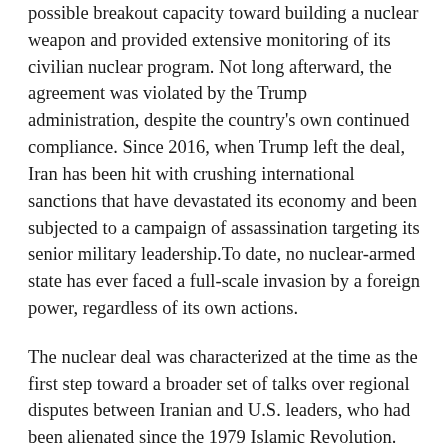possible breakout capacity toward building a nuclear weapon and provided extensive monitoring of its civilian nuclear program. Not long afterward, the agreement was violated by the Trump administration, despite the country's own continued compliance. Since 2016, when Trump left the deal, Iran has been hit with crushing international sanctions that have devastated its economy and been subjected to a campaign of assassination targeting its senior military leadership.To date, no nuclear-armed state has ever faced a full-scale invasion by a foreign power, regardless of its own actions.
The nuclear deal was characterized at the time as the first step toward a broader set of talks over regional disputes between Iranian and U.S. leaders, who had been alienated since the 1979 Islamic Revolution. Instead, the deal marked another bitter chapter in the long-troubled relationship between the two countries.